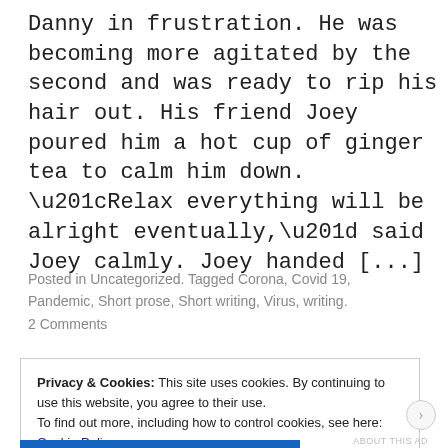Danny in frustration. He was becoming more agitated by the second and was ready to rip his hair out. His friend Joey poured him a hot cup of ginger tea to calm him down. “Relax everything will be alright eventually,” said Joey calmly. Joey handed [...]
Posted in Uncategorized. Tagged Corona, Covid 19, Pandemic, Short prose, Short writing, Virus, writing.
2 Comments
Privacy & Cookies: This site uses cookies. By continuing to use this website, you agree to their use.
To find out more, including how to control cookies, see here: Cookie Policy
Close and accept